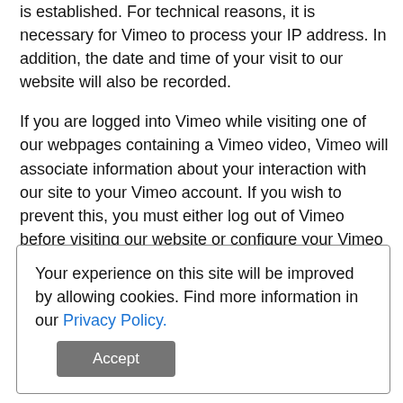is established. For technical reasons, it is necessary for Vimeo to process your IP address. In addition, the date and time of your visit to our website will also be recorded.
If you are logged into Vimeo while visiting one of our webpages containing a Vimeo video, Vimeo will associate information about your interaction with our site to your Vimeo account. If you wish to prevent this, you must either log out of Vimeo before visiting our website or configure your Vimeo user account accordingly.
For the purpose of functionality and usage analysis, Vimeo uses Google Analytics. Google Analytics stores cookies on your terminal device via your browser and transmits
Your experience on this site will be improved by allowing cookies. Find more information in our Privacy Policy. Accept